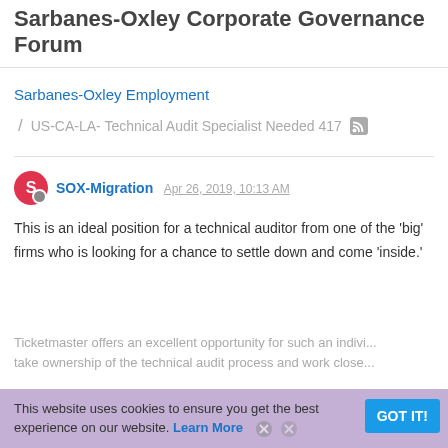Sarbanes-Oxley Corporate Governance Forum
Sarbanes-Oxley Employment
/ US-CA-LA- Technical Audit Specialist Needed 417
SOX-Migration Apr 26, 2019, 10:13 AM
This is an ideal position for a technical auditor from one of the 'big' firms who is looking for a chance to settle down and come 'inside.'
Ticketmaster offers an excellent opportunity for such an indivi... take ownership of the technical audit process and work close...
This website uses cookies to ensure you get the best experience on our website. Learn More